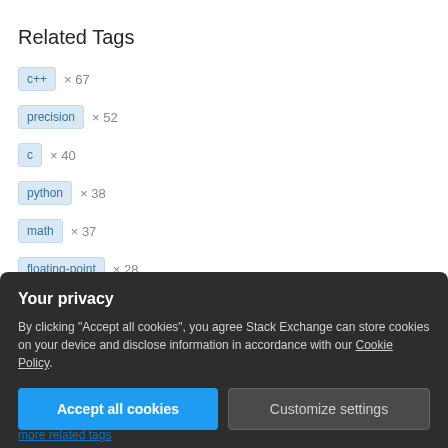Related Tags
c++ × 67
precision × 52
c × 40
python × 38
math × 37
floating-point × 28
Your privacy
By clicking "Accept all cookies", you agree Stack Exchange can store cookies on your device and disclose information in accordance with our Cookie Policy.
Accept all cookies
Customize settings
more related tags